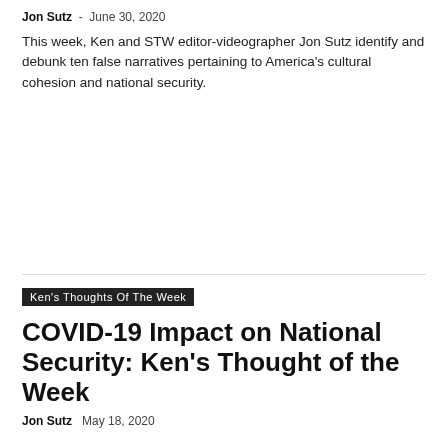Jon Sutz - June 30, 2020
This week, Ken and STW editor-videographer Jon Sutz identify and debunk ten false narratives pertaining to America's cultural cohesion and national security.
Ken's Thoughts Of The Week
COVID-19 Impact on National Security: Ken's Thought of the Week
Jon Sutz - May 18, 2020